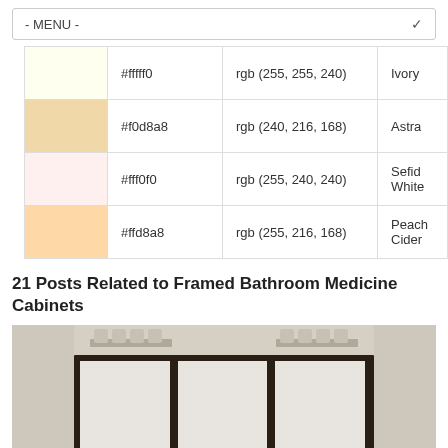- MENU -
| (color) | hex | rgb | name |
| --- | --- | --- | --- |
| #fffff0 | rgb (255, 255, 240) | Ivory |
| #f0d8a8 | rgb (240, 216, 168) | Astra |
| #fff0f0 | rgb (255, 240, 240) | Sefid White |
| #ffd8a8 | rgb (255, 216, 168) | Peach Cider |
21 Posts Related to Framed Bathroom Medicine Cabinets
[Figure (photo): Photo of a framed bathroom medicine cabinet with dark wood frame and three mirrored panels, with overhead vanity lights mounted above.]